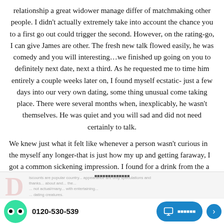relationship a great widower manage differ of matchmaking other people. I didn't actually extremely take into account the chance you to a first go out could trigger the second. However, on the rating-go, I can give James are other. The fresh new talk flowed easily, he was comedy and you will interesting…we finished up going on you to definitely next date, next a third. As he requested me to time him entirely a couple weeks later on, I found myself ecstatic- just a few days into our very own dating, some thing unusual come taking place. There were several months when, inexplicably, he wasn't themselves. He was quiet and you will sad and did not need certainly to talk.
We knew just what it felt like whenever a person wasn't curious in the myself any longer-that is just how my up and getting faraway, I got a common sickening impression. I found for a drink from the a
0120-530-539